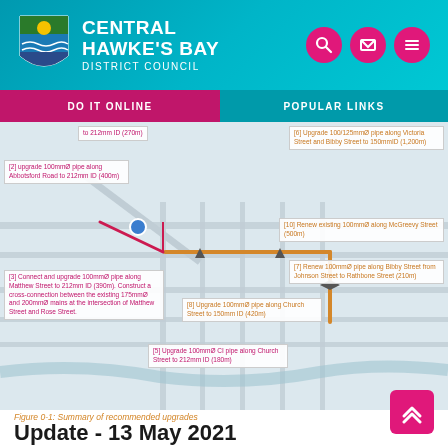[Figure (logo): Central Hawke's Bay District Council shield logo]
CENTRAL HAWKE'S BAY DISTRICT COUNCIL
DO IT ONLINE | POPULAR LINKS
[Figure (map): Map showing summary of recommended water pipe upgrades across the town, with annotated labels for each upgrade including: [1] upgrade to 212mm ID (270m), [2] upgrade 100mm pipe along Abbotsford Road to 212mm ID (400m), [3] Connect and upgrade 100mm pipe along Matthew Street to 212mm ID (390m). Construct a cross-connection between the existing 175mm and 200mm mains at the intersection of Matthew Street and Rose Street, [5] Upgrade 100mm CI pipe along Church Street to 212mm ID (180m), [6] Upgrade 100/125mm pipe along Victoria Street and Bibby Street to 150mmID (1,200m), [7] Renew 100mm pipe along Bibby Street from Johnson Street to Rathbone Street (210m), [8] Upgrade 100mm pipe along Church Street to 150mm ID (420m), [10] Renew existing 100mm along McGreevy Street (500m)]
Figure 0-1: Summary of recommended upgrades
Update - 13 May 2021